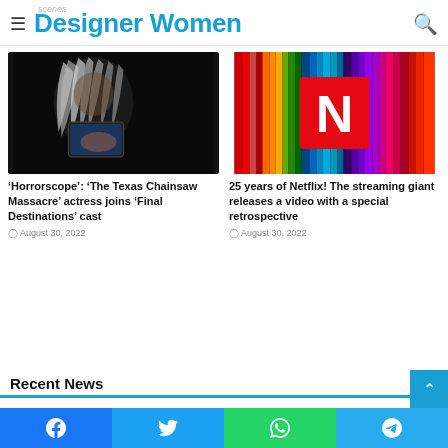Designer Women
[Figure (photo): Older woman with long white hair looking at a device in a dark scene]
‘Horrorscope’: ‘The Texas Chainsaw Massacre’ actress joins ‘Final Destinations’ cast
August 30, 2022
[Figure (photo): Netflix logo on colorful striped background]
25 years of Netflix! The streaming giant releases a video with a special retrospective
August 30, 2022
Recent News